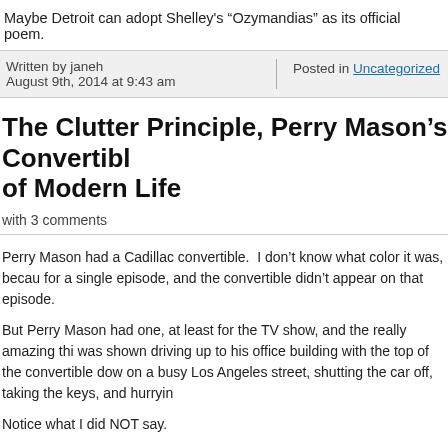Maybe Detroit can adopt Shelley's “Ozymandias” as its official poem.
Written by janeh
August 9th, 2014 at 9:43 am
Posted in Uncategorized
The Clutter Principle, Perry Mason’s Convertible of Modern Life
with 3 comments
Perry Mason had a Cadillac convertible.  I don’t know what color it was, because I’ve only watched it for a single episode, and the convertible didn’t appear on that episode.
But Perry Mason had one, at least for the TV show, and the really amazing thing was that he was shown driving up to his office building with the top of the convertible down, parking it on a busy Los Angeles street, shutting the car off, taking the keys, and hurrying inside.
Notice what I did NOT say.
I did NOT say he put the top back up before leaving the car on the street.
He didn’t do that.  He left the top down.
And he left the car open on the street.